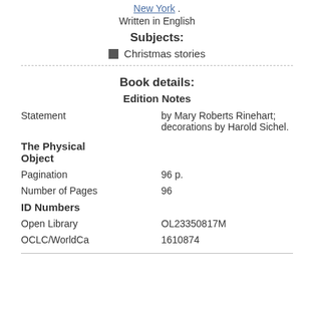New York .
Written in English
Subjects:
Christmas stories
Book details:
Edition Notes
Statement: by Mary Roberts Rinehart; decorations by Harold Sichel.
The Physical Object
Pagination: 96 p.
Number of Pages: 96
ID Numbers
Open Library: OL23350817M
OCLC/WorldCa: 1610874